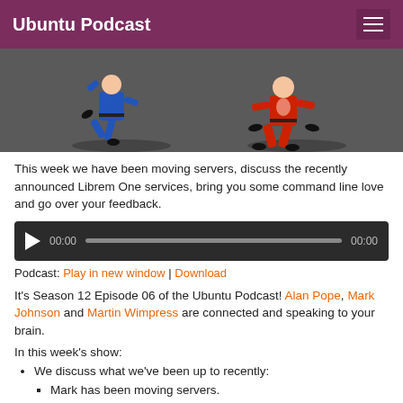Ubuntu Podcast
[Figure (illustration): Two cartoon martial arts fighters: one in blue gi on the left, one in red gi on the right, on a dark grey background.]
This week we have been moving servers, discuss the recently announced Librem One services, bring you some command line love and go over your feedback.
[Figure (other): Audio player with play button, timestamp 00:00, progress bar, and end time 00:00 on a dark background.]
Podcast: Play in new window | Download
It's Season 12 Episode 06 of the Ubuntu Podcast! Alan Pope, Mark Johnson and Martin Wimpress are connected and speaking to your brain.
In this week's show:
We discuss what we've been up to recently:
Mark has been moving servers.
We discuss Librem One.
Underscoring Our Transparency: First Librem One Bug